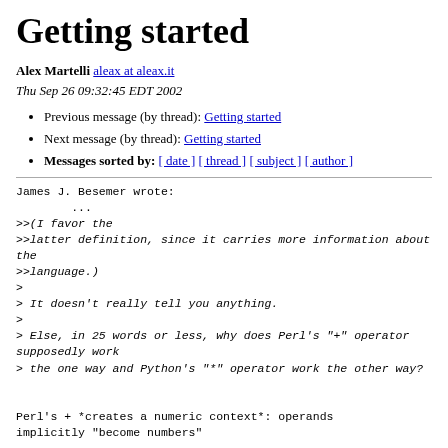Getting started
Alex Martelli aleax at aleax.it
Thu Sep 26 09:32:45 EDT 2002
Previous message (by thread): Getting started
Next message (by thread): Getting started
Messages sorted by: [ date ] [ thread ] [ subject ] [ author ]
James J. Besemer wrote:
        ...
>>(I favor the
>>latter definition, since it carries more information about the
>>language.)
>
> It doesn't really tell you anything.
>
> Else, in 25 words or less, why does Perl's "+" operator supposedly work
> the one way and Python's "*" operator work the other way?


Perl's + *creates a numeric context*: operands
implicitly "become numbers"